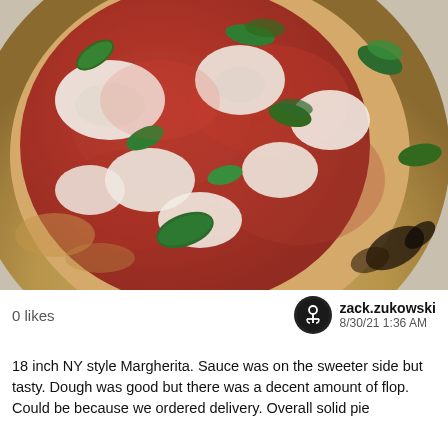[Figure (photo): Close-up photo of an 18-inch NY style Margherita pizza with tomato sauce, fresh mozzarella, and basil leaves on a wood-fired crust with char marks]
0 likes
zack.zukowski
8/30/21 1:36 AM
18 inch NY style Margherita. Sauce was on the sweeter side but tasty. Dough was good but there was a decent amount of flop. Could be because we ordered delivery. Overall solid pie